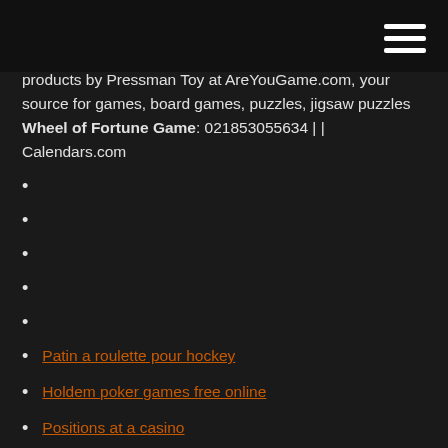Navigation menu header bar
products by Pressman Toy at AreYouGame.com, your source for games, board games, puzzles, jigsaw puzzles Wheel of Fortune Game: 021853055634 | | Calendars.com
Patin a roulette pour hockey
Holdem poker games free online
Positions at a casino
Share online keine free slots jdownloader
Bay 101 casino san jose california
Free online blackjack strategy trainer